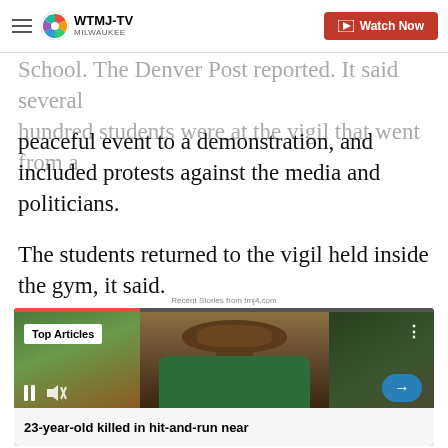WTMJ-TV MILWAUKEE | Watch Now
School. The Denver Post reported. It said several hundred students were at the vigil that went from a peaceful event to a demonstration, and included protests against the media and politicians.
The students returned to the vigil held inside the gym, it said.
Recent Stories from tmj4.com
[Figure (screenshot): Video player showing a young man in a green shirt. Overlaid text reads 'Top Articles'. Video controls show pause and mute buttons. Bottom title bar reads '23-year-old killed in hit-and-run near']